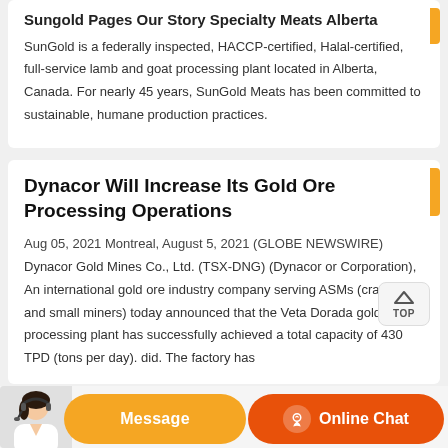Sungold Pages Our Story Specialty Meats Alberta
SunGold is a federally inspected, HACCP-certified, Halal-certified, full-service lamb and goat processing plant located in Alberta, Canada. For nearly 45 years, SunGold Meats has been committed to sustainable, humane production practices.
Dynacor Will Increase Its Gold Ore Processing Operations
Aug 05, 2021 Montreal, August 5, 2021 (GLOBE NEWSWIRE) Dynacor Gold Mines Co., Ltd. (TSX-DNG) (Dynacor or Corporation), An international gold ore industry company serving ASMs (craftsmen and small miners) today announced that the Veta Dorada gold ore processing plant has successfully achieved a total capacity of 430 TPD (tons per day). did. The factory has
[Figure (infographic): Chat support bar with avatar image of woman with headset, orange Message button, and dark orange Online Chat button with headset icon]